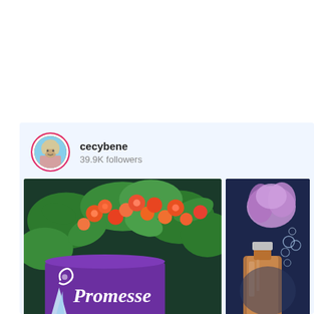[Figure (screenshot): Screenshot of an Instagram-style profile card for user 'cecybene' with 39.9K followers, showing two post thumbnails: a purple Promesse gift box among orange flowers, and a perfume bottle with purple flower underwater.]